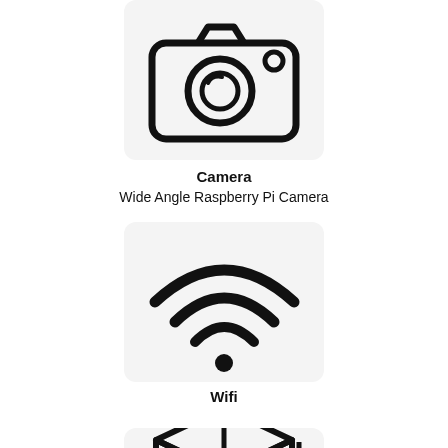[Figure (illustration): Camera icon: rounded rectangle with a camera lens in the center and a small circle in the top right corner, on a light gray background]
Camera
Wide Angle Raspberry Pi Camera
[Figure (illustration): WiFi icon: three curved arcs of increasing size above a dot, on a light gray background]
Wifi
[Figure (illustration): Box/package icon with a double-headed vertical arrow indicating size/height, on a light gray background, partially cropped at bottom]